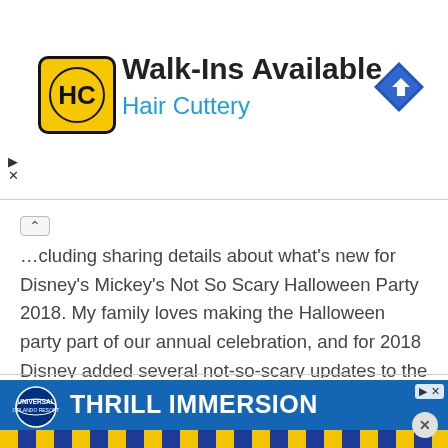[Figure (infographic): Hair Cuttery advertisement banner with yellow/black HC logo, text 'Walk-Ins Available' and 'Hair Cuttery' in blue, and a blue navigation arrow icon on the right]
...including sharing details about what's new for Disney's Mickey's Not So Scary Halloween Party 2018. My family loves making the Halloween party part of our annual celebration, and for 2018 Disney added several not-so-scary updates to the party fun. Thank…
MY LATEST VIDEOS
[Figure (screenshot): Video thumbnail strip — dark bar at top of a video player]
[Figure (infographic): Universal Orlando Resort 'Thrill Immersion' advertisement banner in blue with yellow/blue diagonal stripe at bottom and Universal globe logo]